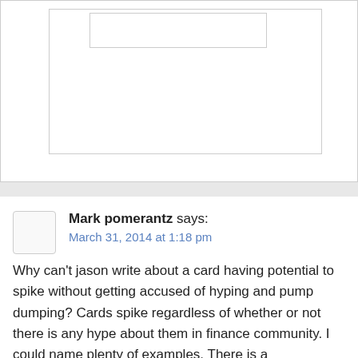[Figure (screenshot): Partially visible UI element with nested bordered boxes at the top of the page]
Mark pomerantz says:
March 31, 2014 at 1:18 pm
Why can't jason write about a card having potential to spike without getting accused of hyping and pump dumping? Cards spike regardless of whether or not there is any hype about them in finance community. I could name plenty of examples. There is a misconception that because people talk about cards spiking, or